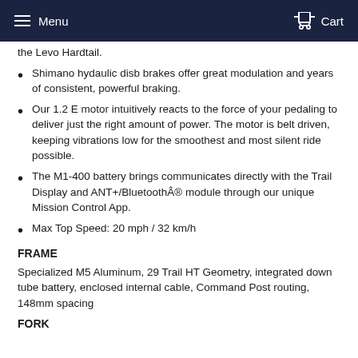Menu   Cart
the Levo Hardtail.
Shimano hydaulic disb brakes offer great modulation and years of consistent, powerful braking.
Our 1.2 E motor intuitively reacts to the force of your pedaling to deliver just the right amount of power. The motor is belt driven, keeping vibrations low for the smoothest and most silent ride possible.
The M1-400 battery brings communicates directly with the Trail Display and ANT+/Bluetooth® module through our unique Mission Control App.
Max Top Speed: 20 mph / 32 km/h
FRAME
Specialized M5 Aluminum, 29 Trail HT Geometry, integrated down tube battery, enclosed internal cable, Command Post routing, 148mm spacing
FORK